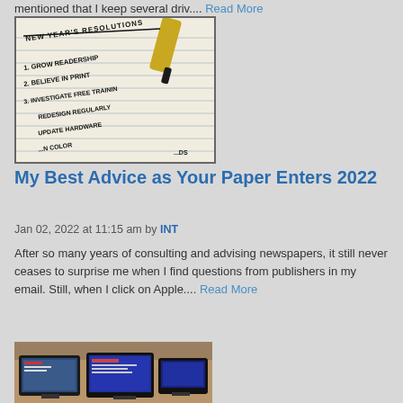mentioned that I keep several driv.... Read More
[Figure (photo): Handwritten New Year's Resolutions list on lined paper with a gold pen. The list reads: NEW YEAR'S RESOLUTIONS, 1. GROW READERSHIP, 2. BELIEVE IN PRINT, 3. INVESTIGATE FREE TRAINING, REDESIGN REGULARLY, UPDATE HARDWARE, ...ON COLOR, ...DS]
My Best Advice as Your Paper Enters 2022
Jan 02, 2022 at 11:15 am by INT
After so many years of consulting and advising newspapers, it still never ceases to surprise me when I find questions from publishers in my email. Still, when I click on Apple.... Read More
[Figure (photo): Photo showing multiple computer monitors on a desk in what appears to be a newsroom or office setting.]